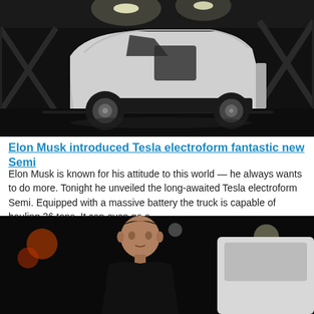[Figure (photo): Tesla Semi electric truck in a dark industrial garage/hangar, side profile view, white cab, black background]
Elon Musk introduced Tesla electroform fantastic new Semi
Elon Musk is known for his attitude to this world — he always wants to do more. Tonight he unveiled the long-awaited Tesla electroform Semi. Equipped with a massive battery the truck is capable of hauling 36 tons. It can even go o...
[Figure (photo): Elon Musk standing in front of a Tesla vehicle at night, wearing dark clothing, event lighting in background]